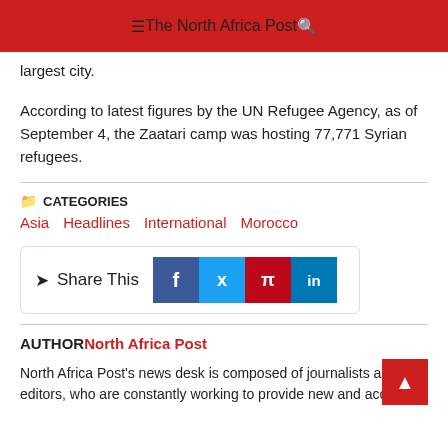The North Africa Post
largest city.
According to latest figures by the UN Refugee Agency, as of September 4, the Zaatari camp was hosting 77,771 Syrian refugees.
CATEGORIES
Asia
Headlines
International
Morocco
[Figure (infographic): Share This social media buttons for Facebook, Twitter, Pinterest, and LinkedIn]
AUTHOR North Africa Post
North Africa Post's news desk is composed of journalists and editors, who are constantly working to provide new and accurate